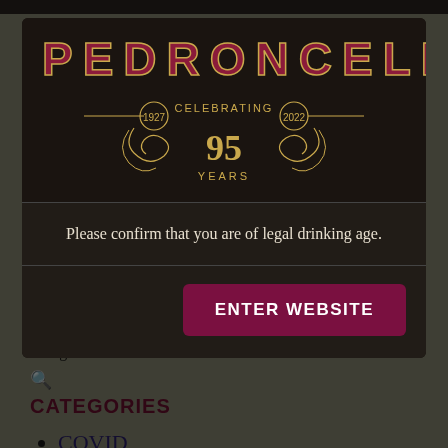[Figure (logo): Pedroncelli winery logo with text PEDRONCELLI in large dark red letters with gold outline, and below it a decorative emblem reading 'CELEBRATING 95 YEARS' with '1927' and '2022' flanking ornamental scrollwork, all on dark background]
Please confirm that you are of legal drinking age.
ENTER WEBSITE
County, Cabernet Sauvignon
Categories:
CATEGORIES
COVID
Follow the Vineyard